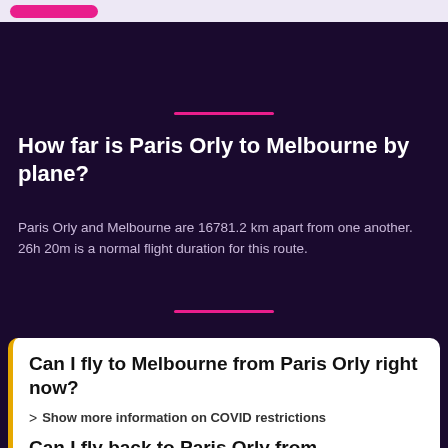[Figure (other): Top navigation bar with a pink/magenta button element on a light purple background]
How far is Paris Orly to Melbourne by plane?
Paris Orly and Melbourne are 16781.2 km apart from one another. 26h 20m is a normal flight duration for this route.
Can I fly to Melbourne from Paris Orly right now?
Show more information on COVID restrictions
Can I fly back to Paris Orly from